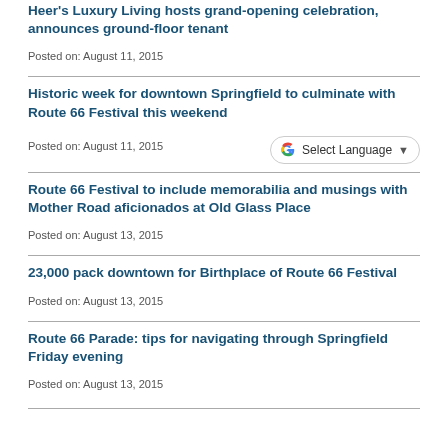Heer's Luxury Living hosts grand-opening celebration, announces ground-floor tenant
Posted on: August 11, 2015
Historic week for downtown Springfield to culminate with Route 66 Festival this weekend
Posted on: August 11, 2015
Route 66 Festival to include memorabilia and musings with Mother Road aficionados at Old Glass Place
Posted on: August 13, 2015
23,000 pack downtown for Birthplace of Route 66 Festival
Posted on: August 13, 2015
Route 66 Parade: tips for navigating through Springfield Friday evening
Posted on: August 13, 2015